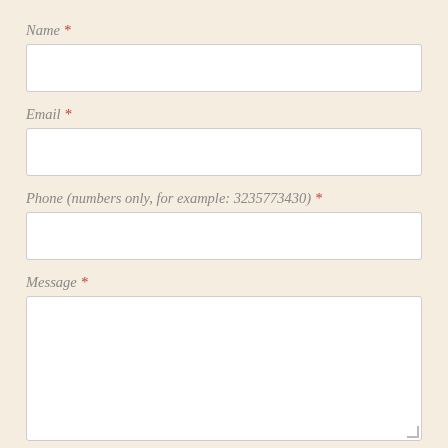Name *
[Figure (other): Empty text input field for Name]
Email *
[Figure (other): Empty text input field for Email]
Phone (numbers only, for example: 3235773430) *
[Figure (other): Empty text input field for Phone]
Message *
[Figure (other): Empty textarea field for Message]
Submit